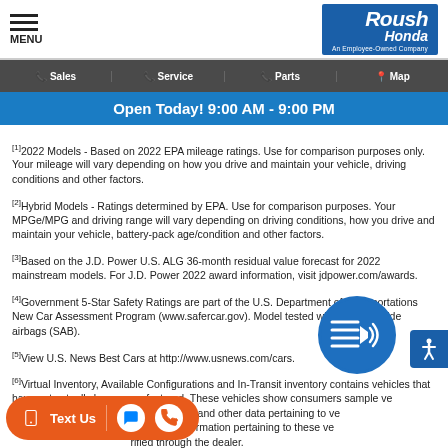MENU | Roush Honda - An Employee-Owned Company
Sales | Service | Parts | Map
Open Today! 9:00 AM - 9:00 PM
[1]2022 Models - Based on 2022 EPA mileage ratings. Use for comparison purposes only. Your mileage will vary depending on how you drive and maintain your vehicle, driving conditions and other factors.
[2]Hybrid Models - Ratings determined by EPA. Use for comparison purposes. Your MPGe/MPG and driving range will vary depending on driving conditions, how you drive and maintain your vehicle, battery-pack age/condition and other factors.
[3]Based on the J.D. Power U.S. ALG 36-month residual value forecast for 2022 mainstream models. For J.D. Power 2022 award information, visit jdpower.com/awards.
[4]Government 5-Star Safety Ratings are part of the U.S. Department of Transportations New Car Assessment Program (www.safercar.gov). Model tested with standard side airbags (SAB).
[5]View U.S. News Best Cars at http://www.usnews.com/cars.
[6]Virtual Inventory, Available Configurations and In-Transit inventory contains vehicles that have not actually been manufactured. These vehicles show consumers sample vehicle configurations including Pricing, Options, Color and other data pertaining to those vehicles for comparison purposes only. All information pertaining to these vehicles needs to be verified through the dealer.